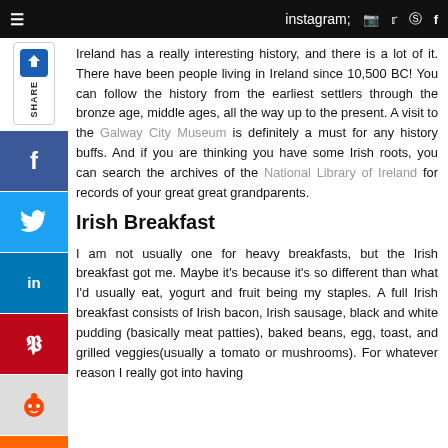≡   [instagram] [twitter] [pinterest] [facebook]
[Figure (other): Left sidebar with share button (Trover logo) and social media buttons: Facebook, Twitter, LinkedIn, Pinterest, Reddit, Mix]
Ireland has a really interesting history, and there is a lot of it. There have been people living in Ireland since 10,500 BC! You can follow the history from the earliest settlers through the bronze age, middle ages, all the way up to the present. A visit to the Galway City Museum is definitely a must for any history buffs. And if you are thinking you have some Irish roots, you can search the archives of the National Library of Ireland for records of your great great grandparents.
Irish Breakfast
I am not usually one for heavy breakfasts, but the Irish breakfast got me. Maybe it's because it's so different than what I'd usually eat, yogurt and fruit being my staples. A full Irish breakfast consists of Irish bacon, Irish sausage, black and white pudding (basically meat patties), baked beans, egg, toast, and grilled veggies(usually a tomato or mushrooms). For whatever reason I really got into having